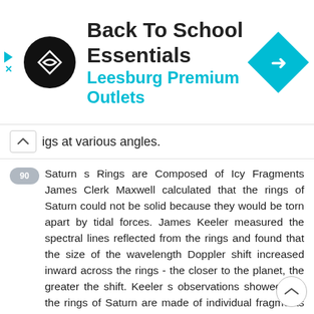[Figure (other): Advertisement banner for Back To School Essentials at Leesburg Premium Outlets with logo and navigation icon]
igs at various angles.
90 Saturn s Rings are Composed of Icy Fragments James Clerk Maxwell calculated that the rings of Saturn could not be solid because they would be torn apart by tidal forces. James Keeler measured the spectral lines reflected from the rings and found that the size of the wavelength Doppler shift increased inward across the rings - the closer to the planet, the greater the shift. Keeler s observations showed that the rings of Saturn are made of individual fragments that rotate around Saturn obeying Kepler s 3 rd law.
91 Properties of Saturn s Rings Saturn s rings reflect about 80% of sunlight that falls on them. Near infrared observations show absorption lines from frozen water in the rings. This confirms that Saturn s ring particles are made of ice and ice coated rock. Voyager and Cassini